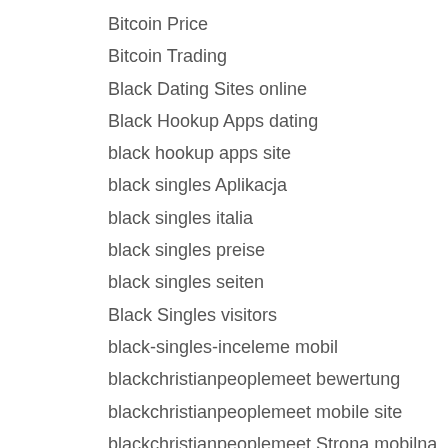Bitcoin Price
Bitcoin Trading
Black Dating Sites online
Black Hookup Apps dating
black hookup apps site
black singles Aplikacja
black singles italia
black singles preise
black singles seiten
Black Singles visitors
black-singles-inceleme mobil
blackchristianpeoplemeet bewertung
blackchristianpeoplemeet mobile site
blackchristianpeoplemeet Strona mobilna
BlackChristianPeopleMeet visitors